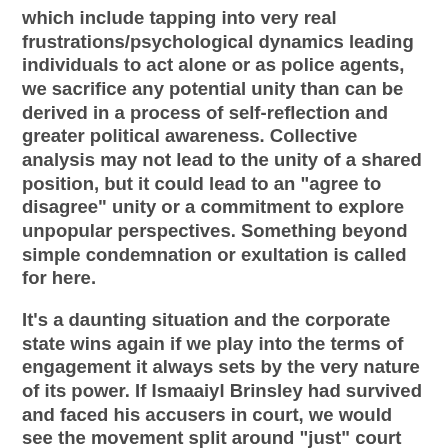which include tapping into very real frustrations/psychological dynamics leading individuals to act alone or as police agents, we sacrifice any potential unity than can be derived in a process of self-reflection and greater political awareness. Collective analysis may not lead to the unity of a shared position, but it could lead to an "agree to disagree" unity or a commitment to explore unpopular perspectives. Something beyond simple condemnation or exultation is called for here.
It's a daunting situation and the corporate state wins again if we play into the terms of engagement it always sets by the very nature of its power. If Ismaaiyl Brinsley had survived and faced his accusers in court, we would see the movement split around "just" court procedures and outcomes. Some would want him evaluated